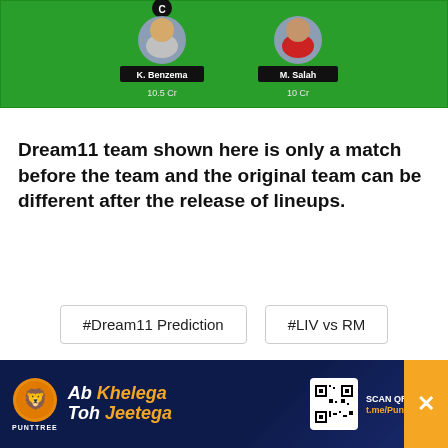[Figure (screenshot): Green fantasy football team layout showing K. Benzema (10.5 Cr, captain) and M. Salah (10 Cr) player cards on a green background]
Dream11 team shown here is only a match before the team and the original team can be different after the release of lineups.
#Dream11 Prediction
#LIV vs RM
[Figure (infographic): Social share buttons row: Facebook, Twitter, Reddit, Messenger, WhatsApp, Telegram]
[Figure (infographic): PunttTree advertisement banner: Ab Khelega Toh Jeetega. Scan QR or Visit t.me/PunttreeBot]